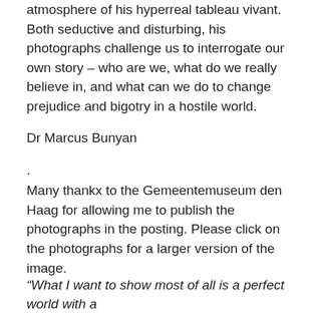atmosphere of his hyperreal tableau vivant. Both seductive and disturbing, his photographs challenge us to interrogate our own story – who are we, what do we really believe in, and what can we do to change prejudice and bigotry in a hostile world.
Dr Marcus Bunyan
.
Many thankx to the Gemeentemuseum den Haag for allowing me to publish the photographs in the posting. Please click on the photographs for a larger version of the image.
“What I want to show most of all is a perfect world with a